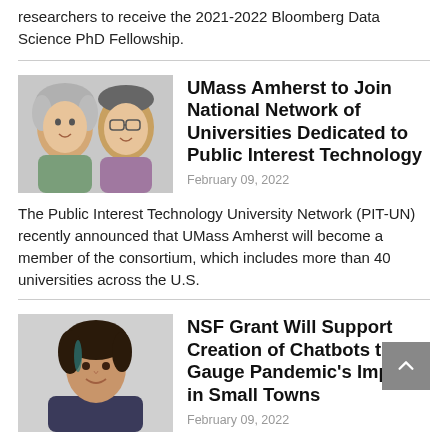researchers to receive the 2021-2022 Bloomberg Data Science PhD Fellowship.
[Figure (photo): Two people side by side: a woman with curly grey hair smiling, and a man with glasses smiling, portrait-style photo]
UMass Amherst to Join National Network of Universities Dedicated to Public Interest Technology
February 09, 2022
The Public Interest Technology University Network (PIT-UN) recently announced that UMass Amherst will become a member of the consortium, which includes more than 40 universities across the U.S.
[Figure (photo): Portrait of a woman with dark hair against a light background, professional headshot]
NSF Grant Will Support Creation of Chatbots to Gauge Pandemic's Impact in Small Towns
February 09, 2022